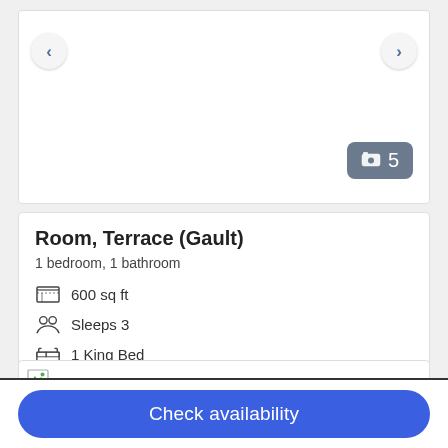[Figure (screenshot): Hotel room image carousel with left/right navigation arrows and a photo count badge showing 5 photos]
Room, Terrace (Gault)
1 bedroom, 1 bathroom
600 sq ft
Sleeps 3
1 King Bed
More details >
[Figure (photo): Partially loaded/broken image at the bottom of the page]
Check availability